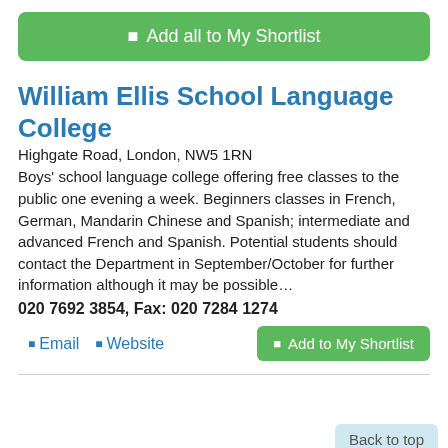☰ Add all to My Shortlist
William Ellis School Language College
Highgate Road, London, NW5 1RN
Boys' school language college offering free classes to the public one evening a week. Beginners classes in French, German, Mandarin Chinese and Spanish; intermediate and advanced French and Spanish. Potential students should contact the Department in September/October for further information although it may be possible…
020 7692 3854, Fax: 020 7284 1274
☰ Email
☰ Website
☰ Add to My Shortlist
Back to top